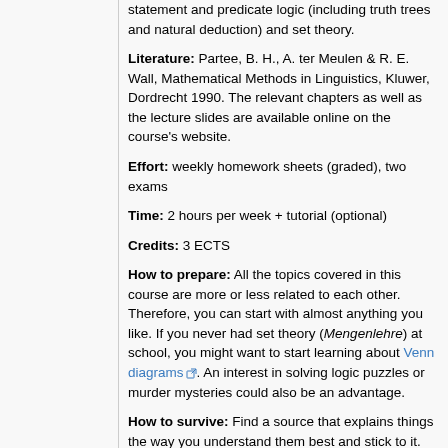statement and predicate logic (including truth trees and natural deduction) and set theory.
Literature: Partee, B. H., A. ter Meulen & R. E. Wall, Mathematical Methods in Linguistics, Kluwer, Dordrecht 1990. The relevant chapters as well as the lecture slides are available online on the course's website.
Effort: weekly homework sheets (graded), two exams
Time: 2 hours per week + tutorial (optional)
Credits: 3 ECTS
How to prepare: All the topics covered in this course are more or less related to each other. Therefore, you can start with almost anything you like. If you never had set theory (Mengenlehre) at school, you might want to start learning about Venn diagrams. An interest in solving logic puzzles or murder mysteries could also be an advantage.
How to survive: Find a source that explains things the way you understand them best and stick to it. Never give up!